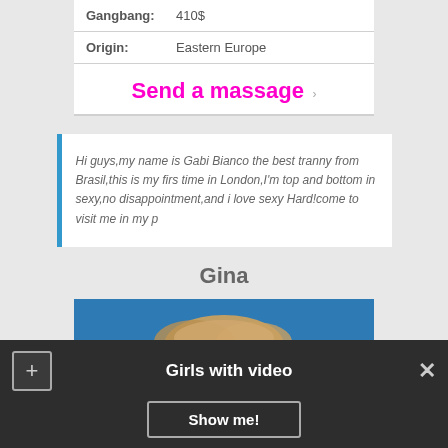| Gangbang: | 410$ |
| Origin: | Eastern Europe |
Send a massage
Hi guys,my name is Gabi Bianco the best tranny from Brasil,this is my firs time in London,I'm top and bottom in sexy,no disappointment,and i love sexy Hard!come to visit me in my p
Gina
[Figure (photo): Partial photo of a blonde person against a blue background]
Girls with video
Show me!